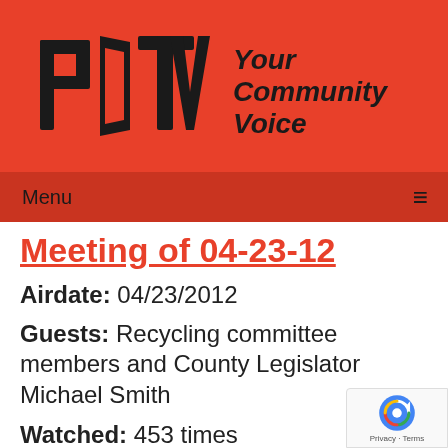[Figure (logo): PCTV logo with stylized PC TV letters in black on red background]
Your Community Voice
Menu ≡
Meeting of 04-23-12
Airdate: 04/23/2012
Guests: Recycling committee members and County Legislator Michael Smith
Watched: 453 times